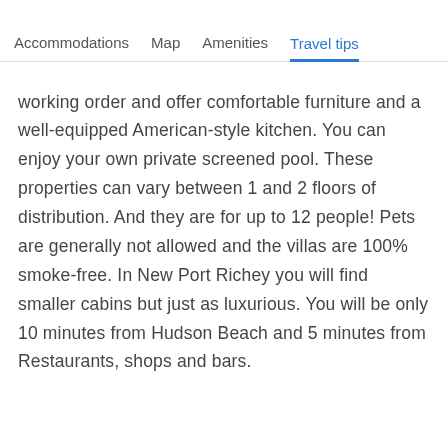Accommodations  Map  Amenities  Travel tips
working order and offer comfortable furniture and a well-equipped American-style kitchen. You can enjoy your own private screened pool. These properties can vary between 1 and 2 floors of distribution. And they are for up to 12 people! Pets are generally not allowed and the villas are 100% smoke-free. In New Port Richey you will find smaller cabins but just as luxurious. You will be only 10 minutes from Hudson Beach and 5 minutes from Restaurants, shops and bars.